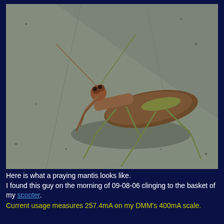[Figure (photo): Close-up photograph of a praying mantis resting on a concrete or stone surface. The mantis has a brown body with green legs, facing left with forelegs raised. The background is a grayish concrete floor.]
Here is what a praying mantis looks like.
I found this guy on the morning of 09-08-06 clinging to the basket of my scooter.
Current usage measures 257.4mA on my DMM's 400mA scale.